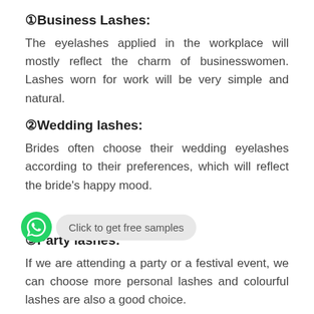①Business Lashes:
The eyelashes applied in the workplace will mostly reflect the charm of businesswomen. Lashes worn for work will be very simple and natural.
②Wedding lashes:
Brides often choose their wedding eyelashes according to their preferences, which will reflect the bride's happy mood.
③Party lashes:
If we are attending a party or a festival event, we can choose more personal lashes and colourful lashes are also a good choice.
[Figure (other): WhatsApp button with text 'Click to get free samples']